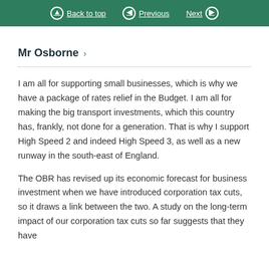Back to top   Previous   Next
Mr Osborne >
I am all for supporting small businesses, which is why we have a package of rates relief in the Budget. I am all for making the big transport investments, which this country has, frankly, not done for a generation. That is why I support High Speed 2 and indeed High Speed 3, as well as a new runway in the south-east of England.
The OBR has revised up its economic forecast for business investment when we have introduced corporation tax cuts, so it draws a link between the two. A study on the long-term impact of our corporation tax cuts so far suggests that they have